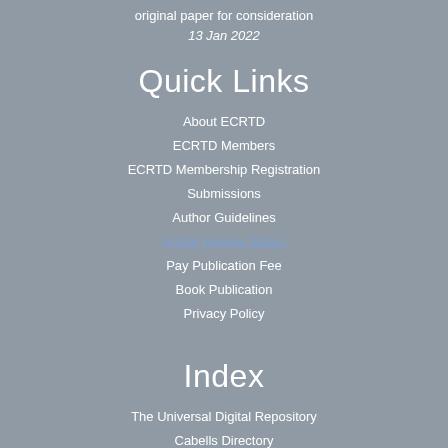original paper for consideration
13 Jan 2022
Quick Links
About ECRTD
ECRTD Members
ECRTD Membership Registration
Submissions
Author Guidelines
Article Review Status
Pay Publication Fee
Book Publication
Privacy Policy
Index
The Universal Digital Repository
Cabells Directory
Ulrich
Open J Gate
New Jour
ECRTD
Proquest
DOAJ
Serials Solutions
Index Copernicus